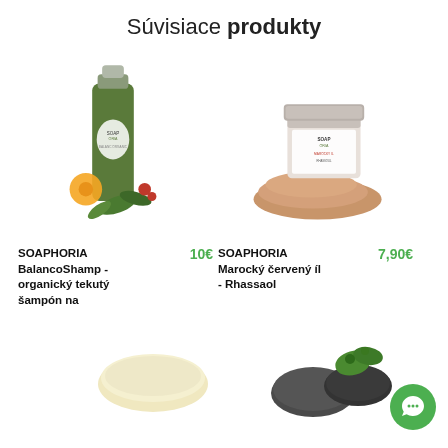Súvisiace produkty
[Figure (photo): SOAPHORIA BalancoShamp - green herbal liquid shampoo bottle with herbs and flowers]
SOAPHORIA BalancoShamp - organický tekutý šampón na
10€
[Figure (photo): SOAPHORIA Marocký červený íl - Rhassaol product jar with powder]
SOAPHORIA Marocký červený íl - Rhassaol
7,90€
[Figure (photo): Soap bar product - light yellow/cream colored bar]
[Figure (photo): Dark stones and green plant product]